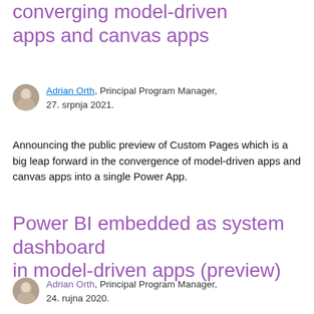converging model-driven apps and canvas apps
[Figure (photo): Avatar/headshot of Adrian Orth (first article)]
Adrian Orth, Principal Program Manager, 27. srpnja 2021.
Announcing the public preview of Custom Pages which is a big leap forward in the convergence of model-driven apps and canvas apps into a single Power App.
Power BI embedded as system dashboard in model-driven apps (preview)
[Figure (photo): Avatar/headshot of Adrian Orth (second article)]
Adrian Orth, Principal Program Manager, 24. rujna 2020.